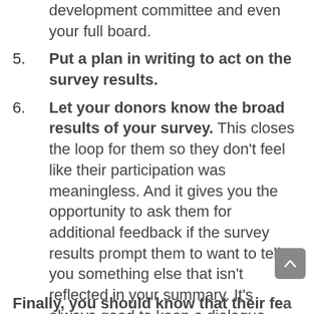development committee and even your full board.
5. Put a plan in writing to act on the survey results.
6. Let your donors know the broad results of your survey. This closes the loop for them so they don’t feel like their participation was meaningless. And it gives you the opportunity to ask them for additional feedback if the survey results prompt them to want to tell you something else that isn’t reflected in your summary. It’s always good to keep a dialogue ongoing, because that’s what builds lasting relationships.
Finally, you should know that their fears...